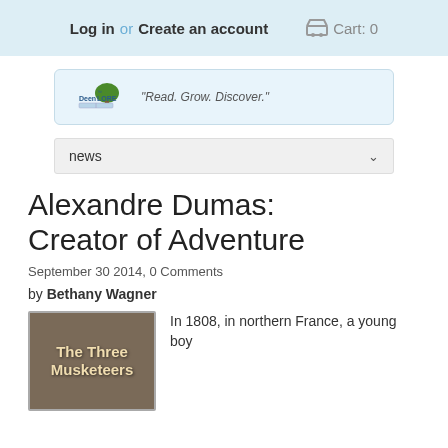Log in or Create an account   Cart: 0
[Figure (logo): OpenLore logo with tree icon and tagline: Read. Grow. Discover.]
news
Alexandre Dumas: Creator of Adventure
September 30 2014, 0 Comments
by Bethany Wagner
[Figure (illustration): Book cover for The Three Musketeers]
In 1808, in northern France, a young boy